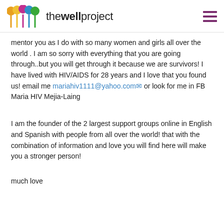the well project
mentor you as I do with so many women and girls all over the world . I am so sorry with everything that you are going through..but you will get through it because we are survivors! I have lived with HIV/AIDS for 28 years and I love that you found us! email me mariahiv1111@yahoo.com or look for me in FB Maria HIV Mejia-Laing
I am the founder of the 2 largest support groups online in English and Spanish with people from all over the world! that with the combination of information and love you will find here will make you a stronger person!
much love